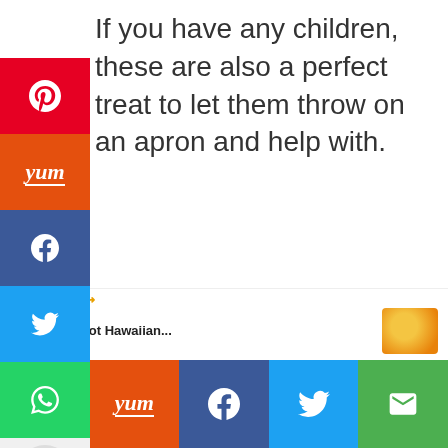If you have any children, these are also a perfect treat to let them throw on an apron and help with.
[Figure (screenshot): Social media share sidebar with Pinterest, Yummly, Facebook, Twitter, WhatsApp, heart/save, email, and general share buttons]
[Figure (screenshot): Three carousel dot indicators]
[Figure (screenshot): What's Next promotional link showing Easy Crockpot Hawaiian... with food thumbnail image]
[Figure (screenshot): Bottom social share bar with Pinterest, Yummly, Facebook, Twitter, and email buttons]